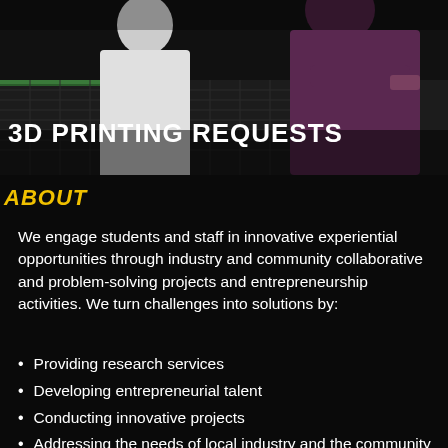[Figure (photo): Two people working at a 3D printer in a workshop/lab setting, dark toned photo]
3D PRINTING REQUESTS
ABOUT
We engage students and staff in innovative experiential opportunities through industry and community collaborative and problem-solving projects and entrepreneurship activities. We turn challenges into solutions by:
Providing research services
Developing entrepreneurial talent
Conducting innovative projects
Addressing the needs of local industry and the community